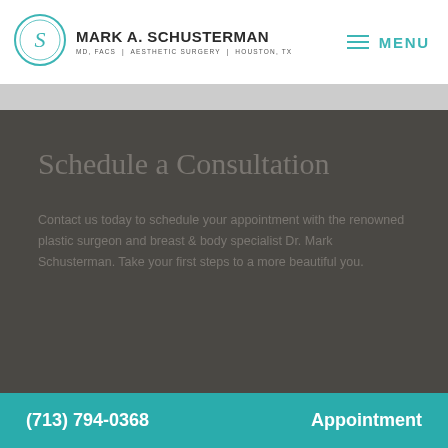[Figure (logo): Mark A. Schusterman MD, FACS | Aesthetic Surgery | Houston, TX logo with circular S monogram in teal]
MENU
Schedule a Consultation
Contact us today to schedule your appointment with the renowned plastic surgeon and breast & body specialist Dr. Mark Schusterman. Take your first steps to a more beautiful you.
(713) 794-0368    Appointment